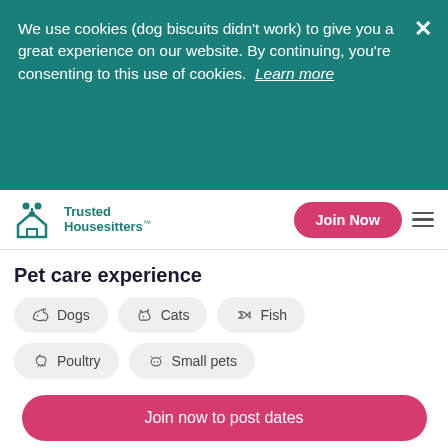We use cookies (dog biscuits didn't work) to give you a great experience on our website. By continuing, you're consenting to this use of cookies. Learn more
[Figure (logo): Trusted Housesitters logo with teal icon and text, Join Now button, hamburger menu]
Pet care experience
Dogs
Cats
Fish
Poultry
Small pets
Availability
Join now to post dates